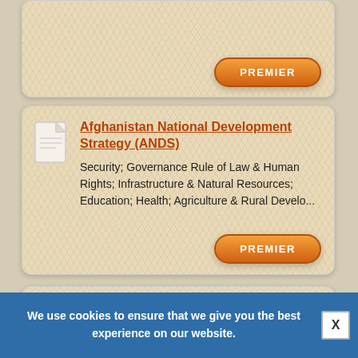[Figure (other): Card with PREMIER button (partially visible at top)]
PREMIER
Afghanistan National Development Strategy (ANDS)
Security; Governance Rule of Law & Human Rights; Infrastructure & Natural Resources; Education; Health; Agriculture & Rural Develo...
PREMIER
Sustainable Tourism
the industry is one that is, or becomes sustainable. 2. As well as the potential negative impacts there are also a number of pot...
PREMIER
We use cookies to ensure that we give you the best experience on our website.